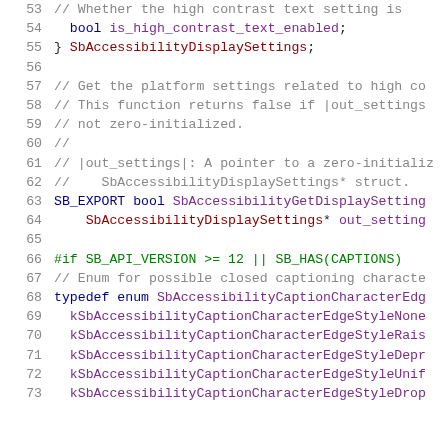53   // Whether the high contrast text setting is
54     bool is_high_contrast_text_enabled;
55   } SbAccessibilityDisplaySettings;
56
57   // Get the platform settings related to high co
58   // This function returns false if |out_settings
59   // not zero-initialized.
60   //
61   // |out_settings|: A pointer to a zero-initializ
62   //     SbAccessibilityDisplaySettings* struct.
63   SB_EXPORT bool SbAccessibilityGetDisplaySetting
64       SbAccessibilityDisplaySettings* out_setting
65
66   #if SB_API_VERSION >= 12 || SB_HAS(CAPTIONS)
67   // Enum for possible closed captioning characte
68   typedef enum SbAccessibilityCaptionCharacterEdg
69     kSbAccessibilityCaptionCharacterEdgeStyleNone
70     kSbAccessibilityCaptionCharacterEdgeStyleRais
71     kSbAccessibilityCaptionCharacterEdgeStyleDepr
72     kSbAccessibilityCaptionCharacterEdgeStyleUnif
73     kSbAccessibilityCaptionCharacterEdgeStyleDrop